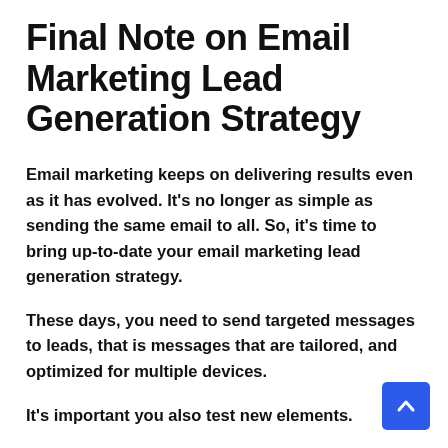Final Note on Email Marketing Lead Generation Strategy
Email marketing keeps on delivering results even as it has evolved. It's no longer as simple as sending the same email to all. So, it's time to bring up-to-date your email marketing lead generation strategy.
These days, you need to send targeted messages to leads, that is messages that are tailored, and optimized for multiple devices.
It's important you also test new elements.